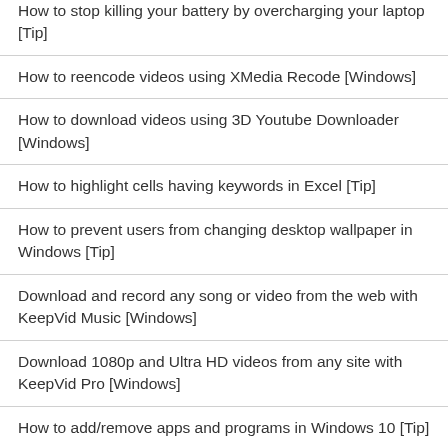How to stop killing your battery by overcharging your laptop [Tip]
How to reencode videos using XMedia Recode [Windows]
How to download videos using 3D Youtube Downloader [Windows]
How to highlight cells having keywords in Excel [Tip]
How to prevent users from changing desktop wallpaper in Windows [Tip]
Download and record any song or video from the web with KeepVid Music [Windows]
Download 1080p and Ultra HD videos from any site with KeepVid Pro [Windows]
How to add/remove apps and programs in Windows 10 [Tip]